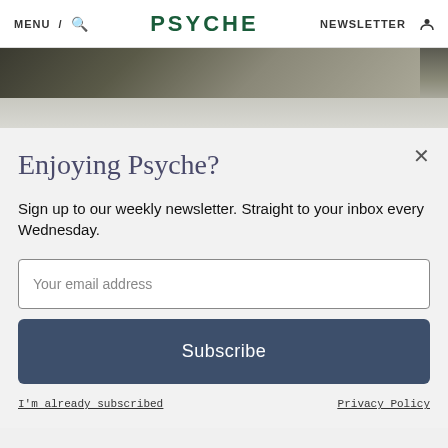MENU / [search] PSYCHE NEWSLETTER [person icon]
[Figure (photo): Partial photograph of a scene, grayscale, mostly dark tones at top fading to light gray at bottom]
Enjoying Psyche?
Sign up to our weekly newsletter. Straight to your inbox every Wednesday.
Your email address
Subscribe
I'm already subscribed
Privacy Policy